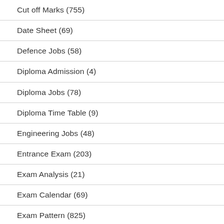Cut off Marks (755)
Date Sheet (69)
Defence Jobs (58)
Diploma Admission (4)
Diploma Jobs (78)
Diploma Time Table (9)
Engineering Jobs (48)
Entrance Exam (203)
Exam Analysis (21)
Exam Calendar (69)
Exam Pattern (825)
Gadgets/Smartphones (3)
Govt. Jobs (726)